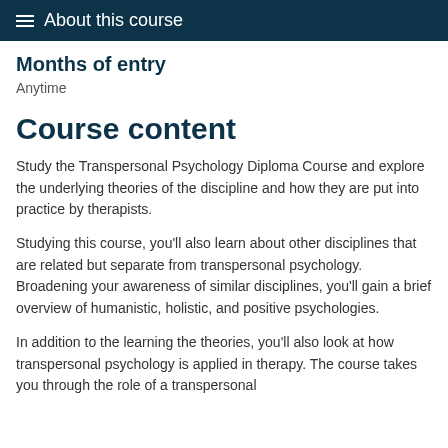≡  About this course
Months of entry
Anytime
Course content
Study the Transpersonal Psychology Diploma Course and explore the underlying theories of the discipline and how they are put into practice by therapists.
Studying this course, you'll also learn about other disciplines that are related but separate from transpersonal psychology. Broadening your awareness of similar disciplines, you'll gain a brief overview of humanistic, holistic, and positive psychologies.
In addition to the learning the theories, you'll also look at how transpersonal psychology is applied in therapy. The course takes you through the role of a transpersonal